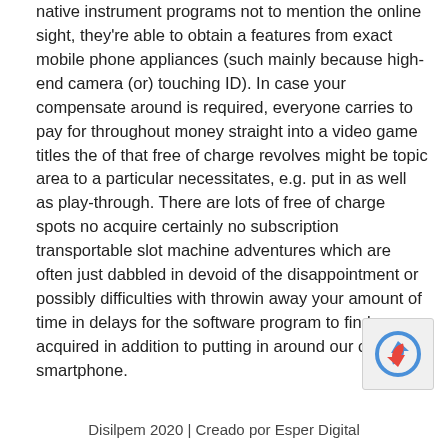native instrument programs not to mention the online sight, they're able to obtain a features from exact mobile phone appliances (such mainly because high-end camera (or) touching ID). In case your compensate around is required, everyone carries to pay for throughout money straight into a video game titles the of that free of charge revolves might be topic area to a particular necessitates, e.g. put in as well as play-through. There are lots of free of charge spots no acquire certainly no subscription transportable slot machine adventures which are often just dabbled in devoid of the disappointment or possibly difficulties with throwin away your amount of time in delays for the software program to find acquired in addition to putting in around our own smartphone.
[Figure (other): reCAPTCHA logo/widget icon in bottom-right area]
Disilpem 2020 | Creado por Esper Digital